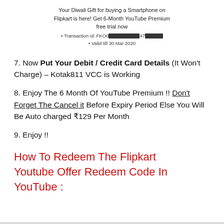Your Diwali Gift for buying a Smartphone on Flipkart is here! Get 6-Month YouTube Premium free trial now
• Transaction id: FKO0[redacted]47[redacted]
• Valid till 30 Mar 2020
7. Now Put Your Debit / Credit Card Details (It Won't Charge) – Kotak811 VCC is Working
8. Enjoy The 6 Month Of YouTube Premium !! Don't Forget The Cancel it Before Expiry Period Else You Will Be Auto charged ₹129 Per Month
9. Enjoy !!
How To Redeem The Flipkart Youtube Offer Redeem Code In YouTube :